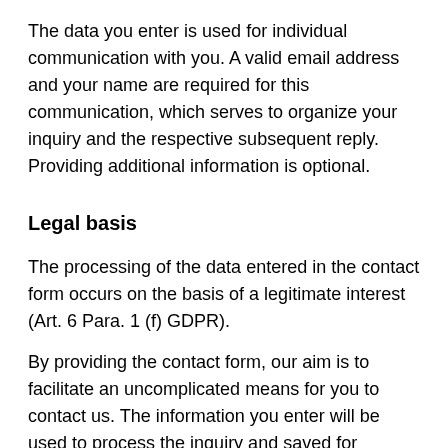The data you enter is used for individual communication with you. A valid email address and your name are required for this communication, which serves to organize your inquiry and the respective subsequent reply. Providing additional information is optional.
Legal basis
The processing of the data entered in the contact form occurs on the basis of a legitimate interest (Art. 6 Para. 1 (f) GDPR).
By providing the contact form, our aim is to facilitate an uncomplicated means for you to contact us. The information you enter will be used to process the inquiry and saved for possible follow-up questions.